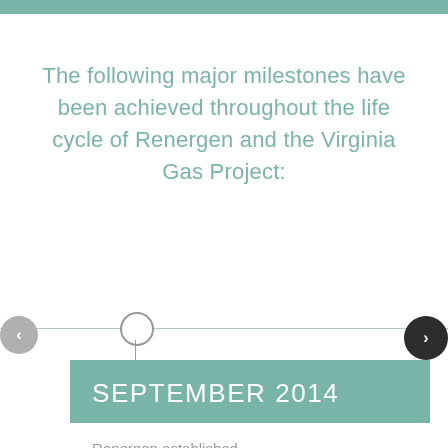The following major milestones have been achieved throughout the life cycle of Renergen and the Virginia Gas Project:
[Figure (infographic): Timeline navigation with a horizontal line, a circle marker with vertical stem, left navigation button (grey, '<'), right navigation button (dark, '>')]
SEPTEMBER 2014
Renergen established.